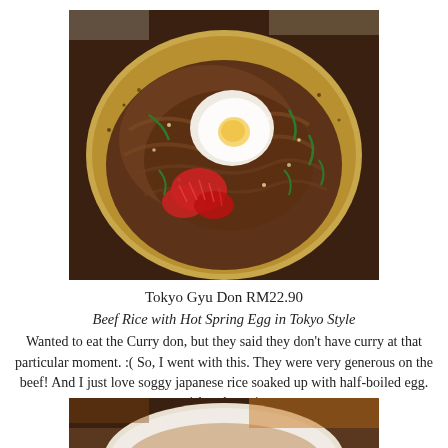[Figure (photo): A bowl of Tokyo Gyu Don (beef rice) topped with a hot spring egg, red pickled ginger, green onions, sesame seeds, and thinly sliced beef served in a speckled ceramic bowl.]
Tokyo Gyu Don RM22.90
Beef Rice with Hot Spring Egg in Tokyo Style
Wanted to eat the Curry don, but they said they don't have curry at that particular moment. :( So, I went with this. They were very generous on the beef! And I just love soggy japanese rice soaked up with half-boiled egg.
*thumbs up*
[Figure (photo): Partial view of another food dish at the bottom of the page, appears to be another Japanese dish in a bowl.]